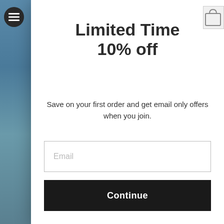[Figure (screenshot): Background screenshot of a beach/lifestyle website with blurred imagery behind a modal popup]
Limited Time
10% off
Save on your first order and get email only offers when you join.
Email
Continue